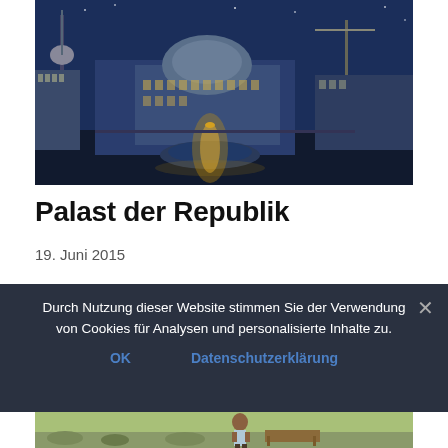[Figure (photo): Night photo of Berlin landmark area with dome building, TV tower (Fernsehturm), fountain with golden ornament, statue, and construction crane against blue night sky]
Palast der Republik
19. Juni 2015
Durch Nutzung dieser Website stimmen Sie der Verwendung von Cookies für Analysen und personalisierte Inhalte zu.
OK    Datenschutzerklärung
[Figure (photo): Outdoor scene with a child standing near a wooden bench on grassy/rocky ground]